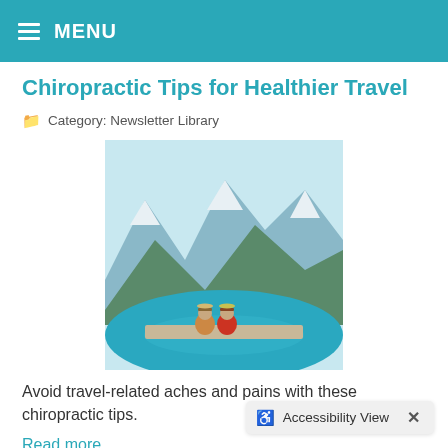MENU
Chiropractic Tips for Healthier Travel
Category: Newsletter Library
[Figure (photo): Two people with backpacks sitting on a dock or shore, looking at a turquoise mountain lake with snow-capped peaks in the background.]
Avoid travel-related aches and pains with these chiropractic tips.
Read more
Tips for Avoiding Yard Work Pain and Injury